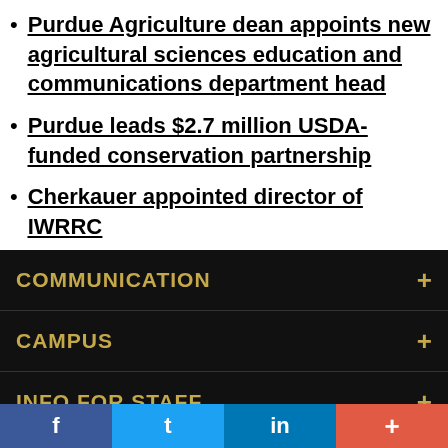Purdue Agriculture dean appoints new agricultural sciences education and communications department head
Purdue leads $2.7 million USDA-funded conservation partnership
Cherkauer appointed director of IWRRC
COMMUNICATION
CAMPUS
INFO FOR STAFF
RESOURCES
f  t  in  +